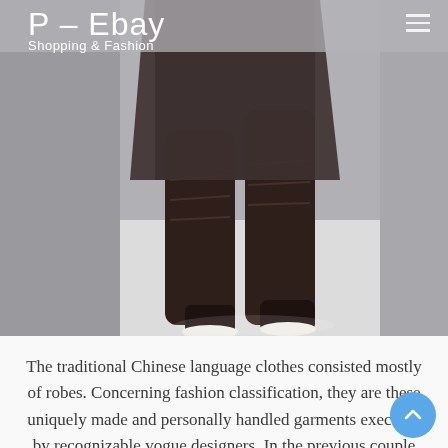P-Ebay
Shopping & Fashion
[Figure (photo): Fashion photo showing a person walking on a runway wearing dark brown knee-high boots and dark outfit, shot from below the waist]
The traditional Chinese language clothes consisted mostly of robes. Concerning fashion classification, they are these uniquely made and personally handled garments executed by recognizable vogue designers. In the previous couple of years, ladies's trend garments included child doll dresses, maxi clothes, unfastened shirts, and many other tendencies that flatter a girl the fitting way.
Use one fashionable and unique youngsters's